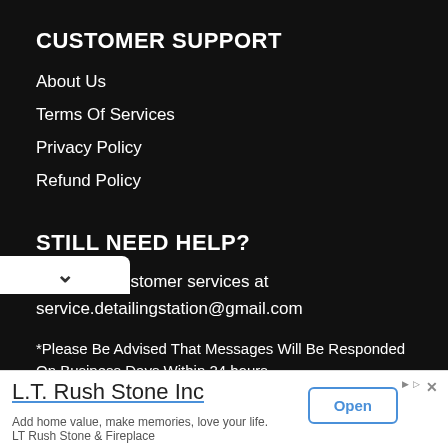CUSTOMER SUPPORT
About Us
Terms Of Services
Privacy Policy
Refund Policy
STILL NEED HELP?
Email our customer services at service.detailingstation@gmail.com
*Please Be Advised That Messages Will Be Responded On Business Days Within 24 hours.
[Figure (infographic): Advertisement banner for L.T. Rush Stone Inc with Open button. Text: 'L.T. Rush Stone Inc', 'Add home value, make memories, love your life. LT Rush Stone & Fireplace']